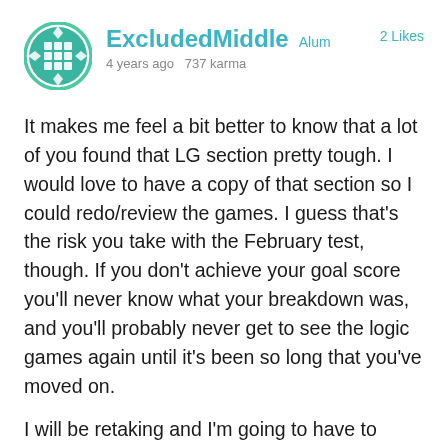[Figure (illustration): Circular avatar icon with green border and grid/diamond pattern in teal/white]
ExcludedMiddle Alum  2 Likes
4 years ago  737 karma
It makes me feel a bit better to know that a lot of you found that LG section pretty tough. I would love to have a copy of that section so I could redo/review the games. I guess that's the risk you take with the February test, though. If you don't achieve your goal score you'll never know what your breakdown was, and you'll probably never get to see the logic games again until it's been so long that you've moved on.
I will be retaking and I'm going to have to decide whether to go for June or September. I like that